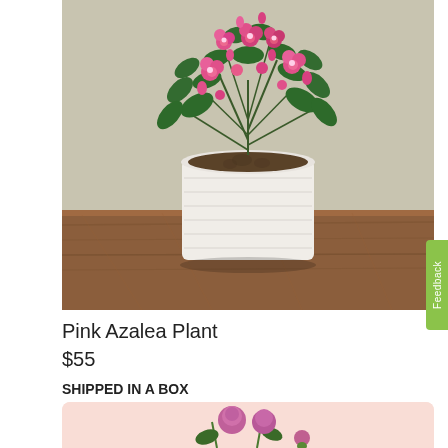[Figure (photo): Pink azalea plant in a white ribbed ceramic pot sitting on a rustic wooden surface, against a warm beige/gray background. Bright pink flowers and green leaves are visible.]
Pink Azalea Plant
$55
SHIPPED IN A BOX
[Figure (photo): Bottom portion of a second product listing with pink/rose background, partially visible pink roses at the bottom of the page.]